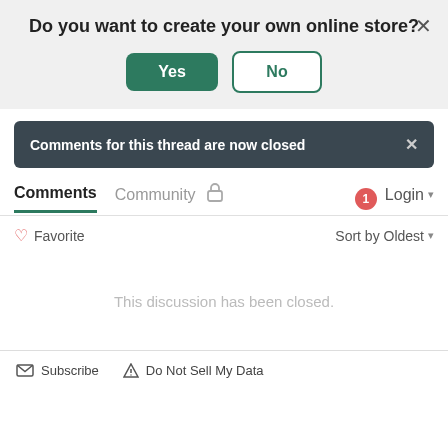Do you want to create your own online store?
Yes
No
Comments for this thread are now closed
Comments   Community   1   Login
Favorite   Sort by Oldest
This discussion has been closed.
Subscribe   Do Not Sell My Data